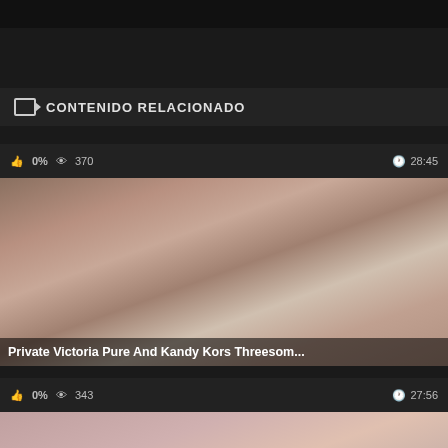CONTENIDO RELACIONADO
0%  370  28:45
[Figure (screenshot): Video thumbnail showing three people in an intimate scene]
Private Victoria Pure And Kandy Kors Threesom...
0%  343  27:56